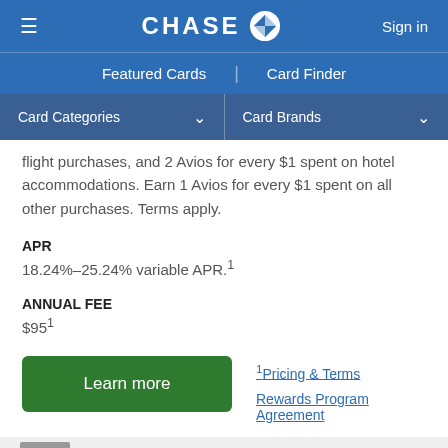CHASE — Sign in
Featured Cards | Card Finder
Card Categories ▼  Card Brands ▼
flight purchases, and 2 Avios for every $1 spent on hotel accommodations. Earn 1 Avios for every $1 spent on all other purchases. Terms apply.
APR
18.24%–25.24% variable APR.1
ANNUAL FEE
$951
Learn more
1Pricing & Terms
Rewards Program Agreement